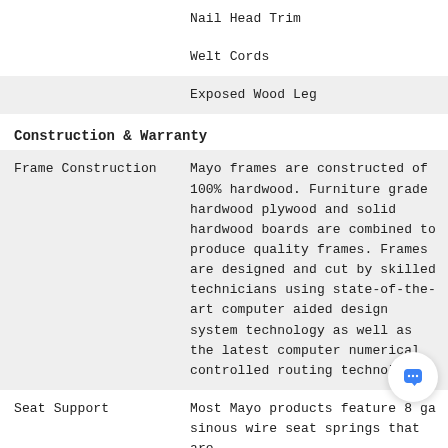|  | Nail Head Trim |
|  | Welt Cords |
|  | Exposed Wood Leg |
Construction & Warranty
| Frame Construction | Mayo frames are constructed of 100% hardwood. Furniture grade hardwood plywood and solid hardwood boards are combined to produce quality frames. Frames are designed and cut by skilled technicians using state-of-the-art computer aided design system technology as well as the latest computer numerical controlled routing technology. |
| Seat Support | Most Mayo products feature 8 gauge sinous wire seat springs that are connected from side to side with spring |